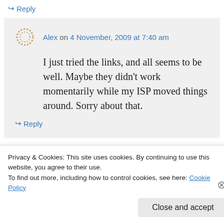↪ Reply
Alex on 4 November, 2009 at 7:40 am
I just tried the links, and all seems to be well. Maybe they didn't work momentarily while my ISP moved things around. Sorry about that.
↪ Reply
Privacy & Cookies: This site uses cookies. By continuing to use this website, you agree to their use. To find out more, including how to control cookies, see here: Cookie Policy